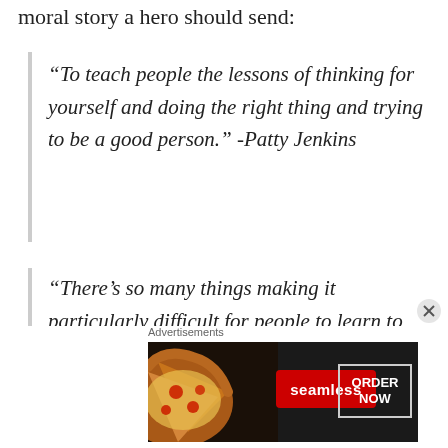moral story a hero should send:
“To teach people the lessons of thinking for yourself and doing the right thing and trying to be a good person.” -Patty Jenkins
“There’s so many things making it particularly difficult for people to learn to think for yourself. You are responsible. You are. For being a hero. Because no hero’s going to come. It’s going to be you. And you
[Figure (screenshot): Seamless food delivery advertisement banner with pizza image on left, red Seamless logo button in center, and ORDER NOW button on right against dark background]